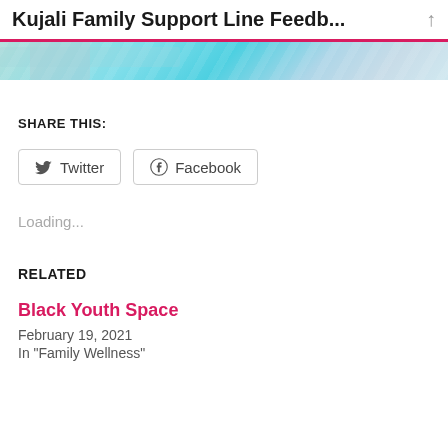Kujali Family Support Line Feedb...
[Figure (photo): Partial image strip showing colorful fabric or clothing with blue/teal patterns]
SHARE THIS:
Twitter   Facebook
Loading...
RELATED
Black Youth Space
February 19, 2021
In "Family Wellness"